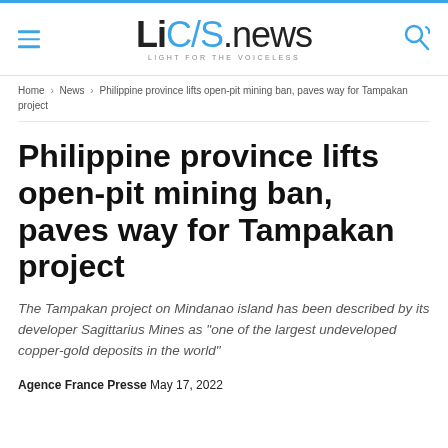[Figure (logo): LiC/S.news logo with tagline LIGHT FOR THE VOICELESS]
Home › News › Philippine province lifts open-pit mining ban, paves way for Tampakan project
Philippine province lifts open-pit mining ban, paves way for Tampakan project
The Tampakan project on Mindanao island has been described by its developer Sagittarius Mines as "one of the largest undeveloped copper-gold deposits in the world"
Agence France Presse May 17, 2022